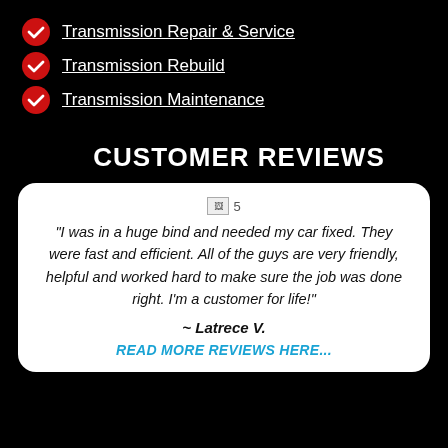Transmission Repair & Service
Transmission Rebuild
Transmission Maintenance
CUSTOMER REVIEWS
[Figure (other): 5-star rating image (broken image placeholder with label '5')]
"I was in a huge bind and needed my car fixed. They were fast and efficient. All of the guys are very friendly, helpful and worked hard to make sure the job was done right. I'm a customer for life!"
~ Latrece V.
READ MORE REVIEWS HERE...